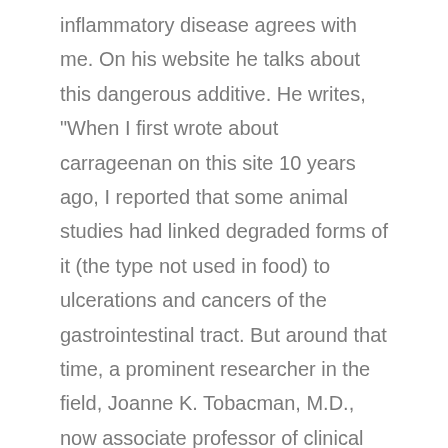inflammatory disease agrees with me. On his website he talks about this dangerous additive. He writes, "When I first wrote about carrageenan on this site 10 years ago, I reported that some animal studies had linked degraded forms of it (the type not used in food) to ulcerations and cancers of the gastrointestinal tract. But around that time, a prominent researcher in the field, Joanne K. Tobacman, M.D., now associate professor of clinical medicine at the University of Illinois College of Medicine, conducted studies linking undegraded carrageenan – the type that is widely used in foods – with malignancies and other stomach problems. (Degraded and undegraded carrageenan differ by molecular